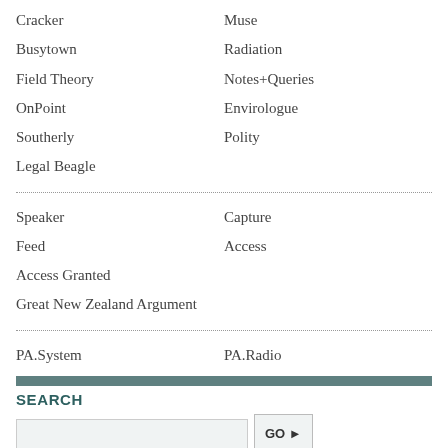Cracker
Muse
Busytown
Radiation
Field Theory
Notes+Queries
OnPoint
Envirologue
Southerly
Polity
Legal Beagle
Speaker
Capture
Feed
Access
Access Granted
Great New Zealand Argument
PA.System
PA.Radio
SEARCH
LINKS
Ads by Scoop
About Hard News